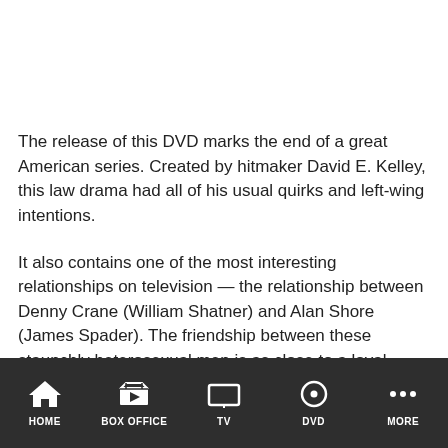The release of this DVD marks the end of a great American series. Created by hitmaker David E. Kelley, this law drama had all of his usual quirks and left-wing intentions.
It also contains one of the most interesting relationships on television — the relationship between Denny Crane (William Shatner) and Alan Shore (James Spader). The friendship between these staunchly heterosexual men is as close to a loyal marriage as can be found on the small-screen.
Boston Legal is wonderfully self-referential, and over the years the characters have made references to the writers' strike, the show's changing time slots and even the unrealistic, formulaic
HOME   BOX OFFICE   TV   DVD   MORE